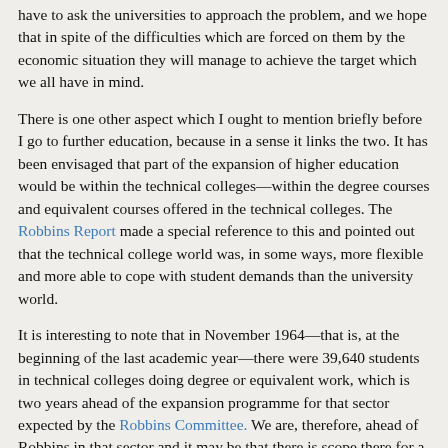have to ask the universities to approach the problem, and we hope that in spite of the difficulties which are forced on them by the economic situation they will manage to achieve the target which we all have in mind.
There is one other aspect which I ought to mention briefly before I go to further education, because in a sense it links the two. It has been envisaged that part of the expansion of higher education would be within the technical colleges—within the degree courses and equivalent courses offered in the technical colleges. The Robbins Report made a special reference to this and pointed out that the technical college world was, in some ways, more flexible and more able to cope with student demands than the university world.
It is interesting to note that in November 1964—that is, at the beginning of the last academic year—there were 39,640 students in technical colleges doing degree or equivalent work, which is two years ahead of the expansion programme for that sector expected by the Robbins Committee. We are, therefore, ahead of Robbins in that sector and it may be that there is scope there for a faster advance than the Robbins target.
That brings me to the subject of technical colleges in general, and here I suggest that although, of course, the decisions which have been announced are serious for the technical colleges, we feel that, on